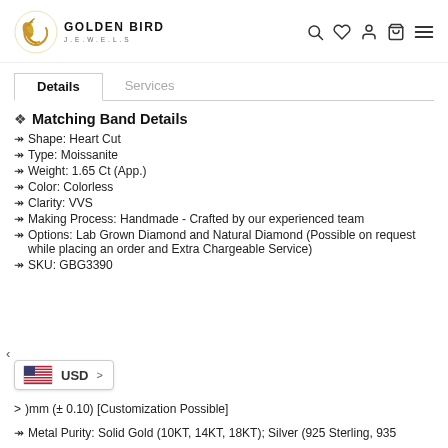Golden Bird Jewels — navigation header with logo and icons
Details | Services tabs
❖ Matching Band Details
↠ Shape: Heart Cut
↠ Type: Moissanite
↠ Weight: 1.65 Ct (App.)
↠ Color: Colorless
↠ Clarity: VVS
↠ Making Process: Handmade - Crafted by our experienced team
↠ Options: Lab Grown Diamond and Natural Diamond (Possible on request while placing an order and Extra Chargeable Service)
↠ SKU: GBG3390
[Figure (other): USD currency selector widget with US flag]
> )mm (± 0.10) [Customization Possible]
↠ Metal Purity: Solid Gold (10KT, 14KT, 18KT); Silver (925 Sterling, 935